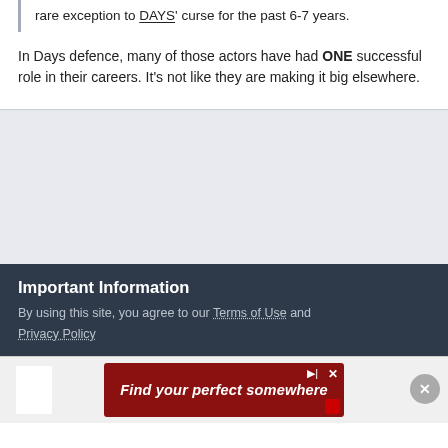rare exception to DAYS' curse for the past 6-7 years.
In Days defence, many of those actors have had ONE successful role in their careers. It's not like they are making it big elsewhere.
[Figure (other): Gray advertisement placeholder area]
Important Information
By using this site, you agree to our Terms of Use and Privacy Policy
[Figure (other): Advertisement banner: 'Find your perfect somewhere' on dark red background with play and close buttons]